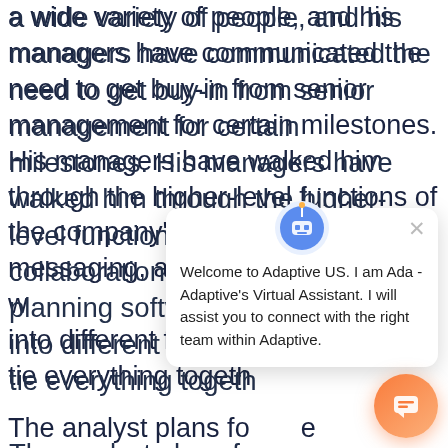a wide variety of people, and his managers have communicated the need to get buy-in from senior management for certain milestones. His managers have walked him through the higher-level functions of the company's collaboration, messaging, and planning software, w into different factors tie everything togeth
The analyst plans fo e the existing processe included reviewing existing documentation; a needs phase, where the process stakeholders are queried about what is good and bad about
[Figure (screenshot): Chat popup from Adaptive US virtual assistant Ada. Shows avatar icon at top, close (X) button, and message: 'Welcome to Adaptive US. I am Ada - Adaptive's Virtual Assistant. I will assist you to connect with the right team within Adaptive.' An orange circular chat widget button appears in the bottom right corner.]